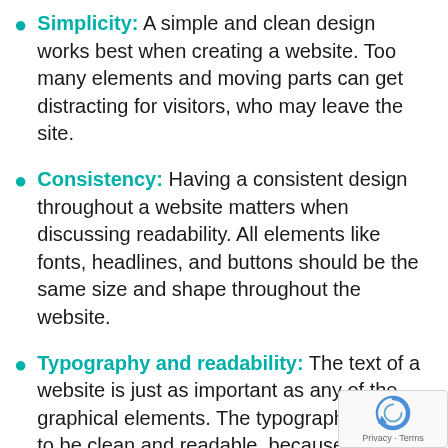Simplicity: A simple and clean design works best when creating a website. Too many elements and moving parts can get distracting for visitors, who may leave the site.
Consistency: Having a consistent design throughout a website matters when discussing readability. All elements like fonts, headlines, and buttons should be the same size and shape throughout the website.
Typography and readability: The text of a website is just as important as any of the graphical elements. The typography needs to be clean and readable, because it is not just visitors, but also the search engine crawlers that will also be reading it. If they cannot, the it will have a negative impact on a site's